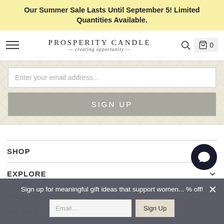Our Summer Sale Lasts Until September 5! Limited Quantities Available.
[Figure (screenshot): Prosperity Candle website header with hamburger menu, logo reading PROSPERITY CANDLE — creating opportunity —, search icon, and cart icon showing 0]
Enter your email address...
SIGN UP
SHOP
EXPLORE
INQUIRE
413-203-5...
Sign up for meaningful gift ideas that support women... % off!
Email....
Sign Up